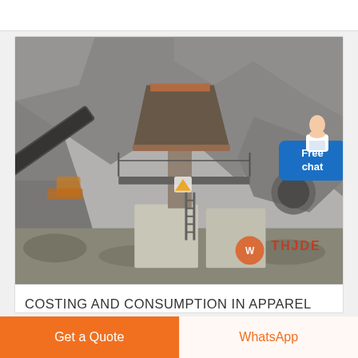[Figure (photo): Industrial rock crusher / sand making machine at a quarry site with rocky hillside in the background. A large vertical shaft impact crusher is installed on a concrete platform with conveyor belts visible. A watermark logo 'THJDE' is visible at the bottom right.]
COSTING AND CONSUMPTION IN APPAREL
Get a Quote
WhatsApp